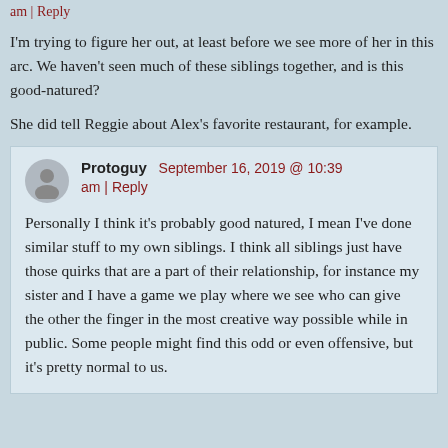am | Reply
I'm trying to figure her out, at least before we see more of her in this arc. We haven't seen much of these siblings together, and is this good-natured?
She did tell Reggie about Alex's favorite restaurant, for example.
Protoguy  September 16, 2019 @ 10:39 am | Reply
Personally I think it's probably good natured, I mean I've done similar stuff to my own siblings. I think all siblings just have those quirks that are a part of their relationship, for instance my sister and I have a game we play where we see who can give the other the finger in the most creative way possible while in public. Some people might find this odd or even offensive, but it's pretty normal to us.